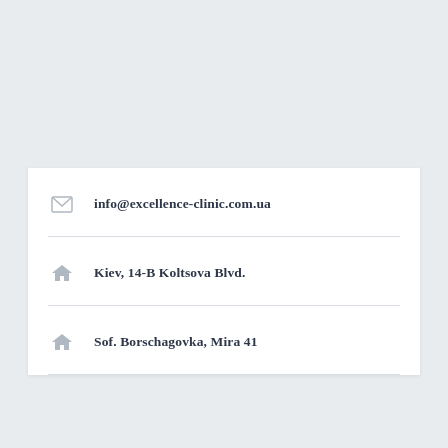info@excellence-clinic.com.ua
Kiev, 14-B Koltsova Blvd.
Sof. Borschagovka, Mira 41